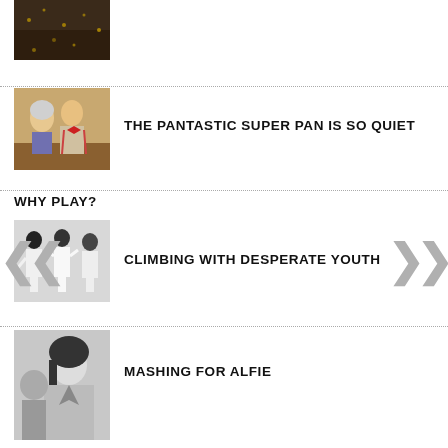[Figure (photo): Top partial image - appears to be a sparkly/sequined fabric or costume, cropped at top]
[Figure (photo): TV still of two people - older woman and man with red bow tie in striped suspenders]
THE PANTASTIC SUPER PAN IS SO QUIET
WHY PLAY?
[Figure (photo): Black and white photo of three figures in white suits]
CLIMBING WITH DESPERATE YOUTH
[Figure (photo): Black and white photo of a woman with dark hair]
MASHING FOR ALFIE